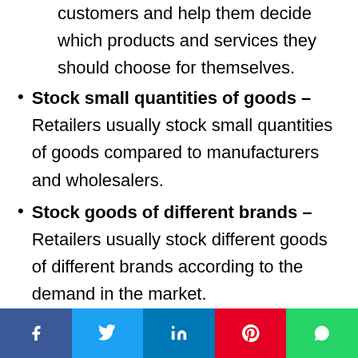customers and help them decide which products and services they should choose for themselves.
Stock small quantities of goods – Retailers usually stock small quantities of goods compared to manufacturers and wholesalers.
Stock goods of different brands – Retailers usually stock different goods of different brands according to the demand in the market.
Social share bar: Facebook, Twitter, LinkedIn, Pinterest, WhatsApp